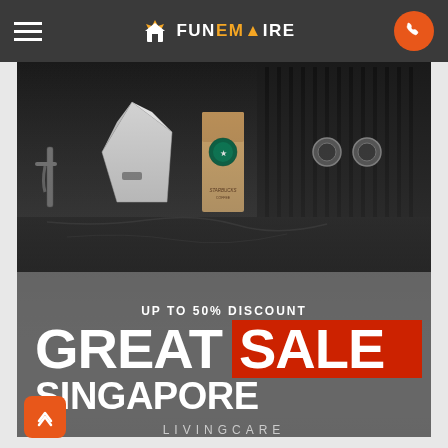FunEmpire navigation bar
[Figure (screenshot): Kitchen/bar countertop scene with Starbucks coffee box, white geometric object, and metal fixtures on a dark marble surface. Promotional overlay: 'UP TO 50% DISCOUNT — GREAT SALE SINGAPORE — LIVINGCARE']